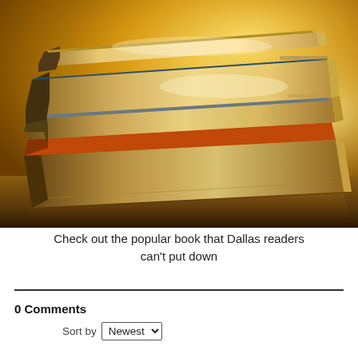[Figure (photo): A stack of books photographed against a warm golden/amber background. The books are stacked horizontally with their spines facing left, showing golden-cream pages with one visible orange-spined book in the stack. The lighting creates a warm, glowing atmosphere.]
Check out the popular book that Dallas readers can't put down
0 Comments
Sort by Newest